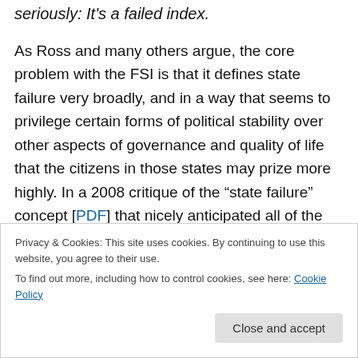seriously: It's a failed index.
As Ross and many others argue, the core problem with the FSI is that it defines state failure very broadly, and in a way that seems to privilege certain forms of political stability over other aspects of governance and quality of life that the citizens in those states may prize more highly. In a 2008 critique of the “state failure” concept [PDF] that nicely anticipated all of the recent sturm und drang around the FSI, Chuck Call wrote that
Privacy & Cookies: This site uses cookies. By continuing to use this website, you agree to their use. To find out more, including how to control cookies, see here: Cookie Policy